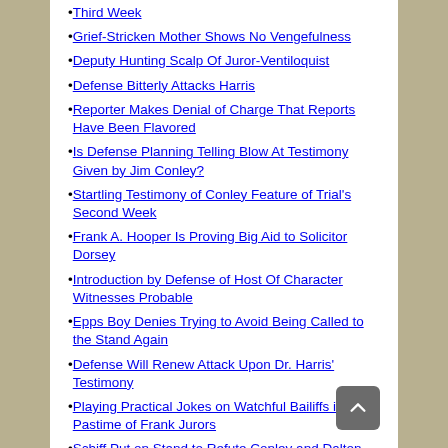Third Week
Grief-Stricken Mother Shows No Vengefulness
Deputy Hunting Scalp Of Juror-Ventiloquist
Defense Bitterly Attacks Harris
Reporter Makes Denial of Charge That Reports Have Been Flavored
Is Defense Planning Telling Blow At Testimony Given by Jim Conley?
Startling Testimony of Conley Feature of Trial's Second Week
Frank A. Hooper Is Proving Big Aid to Solicitor Dorsey
Introduction by Defense of Host Of Character Witnesses Probable
Epps Boy Denies Trying to Avoid Being Called to the Stand Again
Defense Will Renew Attack Upon Dr. Harris' Testimony
Playing Practical Jokes on Watchful Bailiffs is Pastime of Frank Jurors
Schiff Put on Stand to Refute Conley and Dalton Testimony
Schiff Testimony Contradicts That Given by Dalton